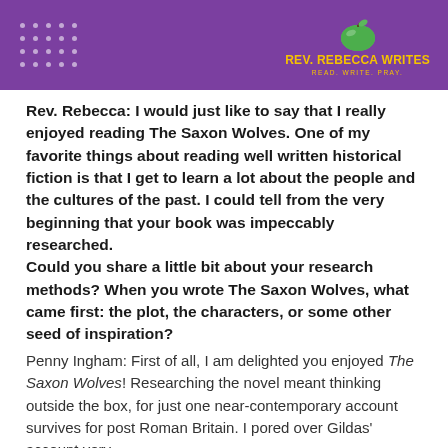[Figure (logo): Rev. Rebecca Writes blog header banner with purple background, white dot grid pattern on left, green apple illustration and yellow logo text on right reading 'REV. REBECCA WRITES' with tagline 'READ. WRITE. PRAY.']
Rev. Rebecca: I would just like to say that I really enjoyed reading The Saxon Wolves. One of my favorite things about reading well written historical fiction is that I get to learn a lot about the people and the cultures of the past. I could tell from the very beginning that your book was impeccably researched. Could you share a little bit about your research methods? When you wrote The Saxon Wolves, what came first: the plot, the characters, or some other seed of inspiration?
Penny Ingham: First of all, I am delighted you enjoyed The Saxon Wolves! Researching the novel meant thinking outside the box, for just one near-contemporary account survives for post Roman Britain. I pored over Gildas' account very